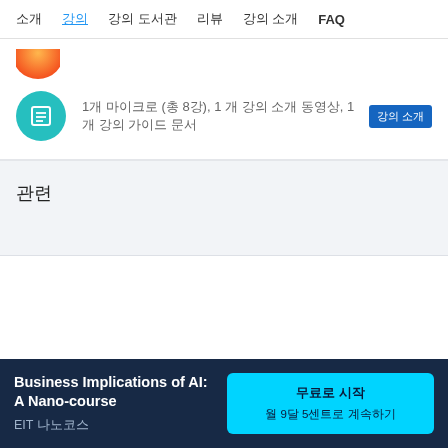소개  강의  강의 도서관  리뷰  강의 소개  FAQ
[Figure (illustration): Orange circle icon (partially visible at top)]
1개 마이크로 (총 8강), 1 개 강의 소개 동영상, 1 개 강의 가이드 문서  강의 소개
관련
Business Implications of AI: A Nano-course
EIT 나노코스
무료로 시작  월 9달 5센트로 계속하기